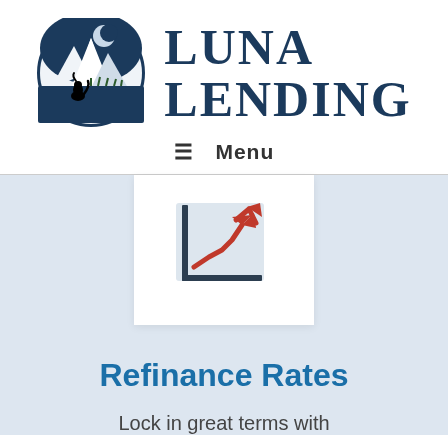[Figure (logo): Luna Lending logo: circular emblem with moon crescent, mountain peaks, and dog silhouette in dark navy and white]
LUNA LENDING
≡  Menu
[Figure (illustration): Trending upward line chart icon with red arrow pointing up-right, grey background, dark L-shaped axis frame]
Refinance Rates
Lock in great terms with